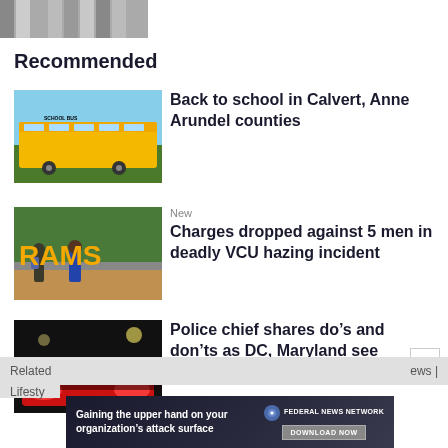[Figure (photo): Top strip of a dark metallic/feather texture image]
Recommended
[Figure (photo): Yellow school bus parked on a road with blue sky background]
Back to school in Calvert, Anne Arundel counties
[Figure (photo): Students walking past large RAMS letters sign on a brick wall]
New
Charges dropped against 5 men in deadly VCU hazing incident
[Figure (photo): Red police car lights at night on a dark city street]
Police chief shares do’s and don’ts as DC, Maryland see increase in carjackings
[Figure (other): Advertisement banner: Gaining the upper hand on your organization's attack surface - Federal News Network - DOWNLOAD NOW]
Related